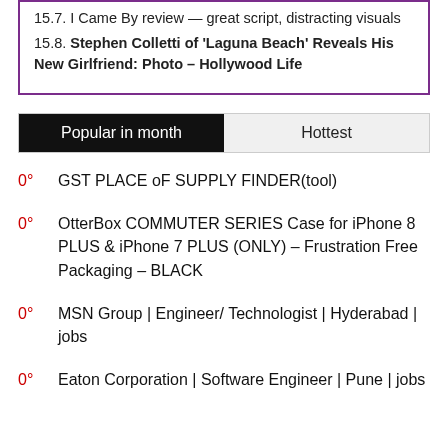15.7. I Came By review — great script, distracting visuals
15.8. Stephen Colletti of 'Laguna Beach' Reveals His New Girlfriend: Photo – Hollywood Life
Popular in month | Hottest
0° GST PLACE oF SUPPLY FINDER(tool)
0° OtterBox COMMUTER SERIES Case for iPhone 8 PLUS & iPhone 7 PLUS (ONLY) – Frustration Free Packaging – BLACK
0° MSN Group | Engineer/ Technologist | Hyderabad | jobs
0° Eaton Corporation | Software Engineer | Pune | jobs